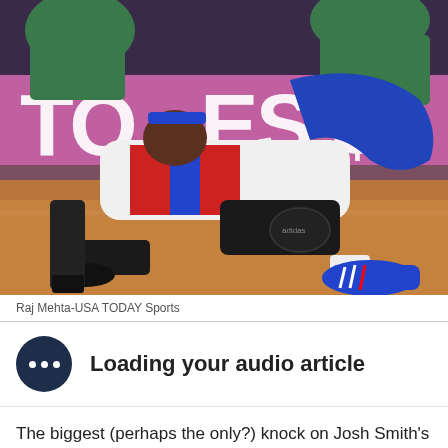[Figure (photo): NBA basketball players scrambling on the court floor. One player in a Detroit Pistons white, red and blue uniform is lying on the floor while players in green Boston Celtics uniforms stand over him. A sign in the background reads partial text. The game is being played on a hardwood court.]
Raj Mehta-USA TODAY Sports
Loading your audio article
The biggest (perhaps the only?) knock on Josh Smith's game is that he frequently falls in love with 3-point shots, despite his locations. Red per Stack ……. 30.2